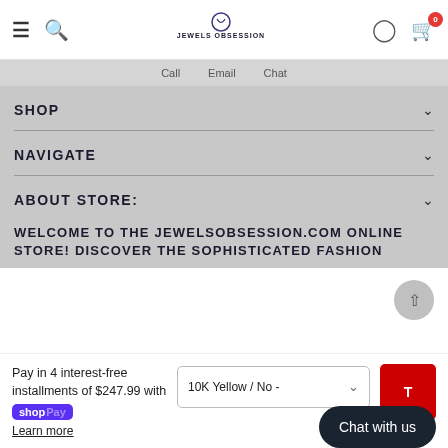Jewels Obsession — Navigation header with hamburger, search, logo, user, and cart (0 items)
Call   Email   Chat
SHOP
NAVIGATE
ABOUT STORE:
WELCOME TO THE JEWELSOBSESSION.COM ONLINE STORE! DISCOVER THE SOPHISTICATED FASHION
Pay in 4 interest-free installments of $247.99 with Shop Pay Learn more
10K Yellow / No -
Chat with us